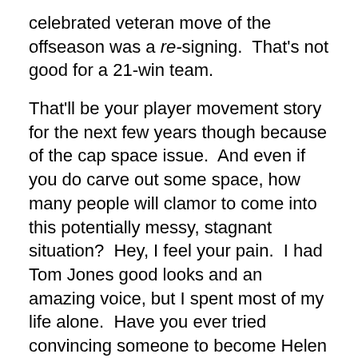celebrated veteran move of the offseason was a re-signing.  That's not good for a 21-win team.
That'll be your player movement story for the next few years though because of the cap space issue.  And even if you do carve out some space, how many people will clamor to come into this potentially messy, stagnant situation?  Hey, I feel your pain.  I had Tom Jones good looks and an amazing voice, but I spent most of my life alone.  Have you ever tried convincing someone to become Helen Humperdinck?  It's not an easy sell for Susies, Sallys, or Gretchens either.
So cheer up Portland!  Misery loves company, and you and I may be company for a long, long time.
[Tomorrow:  The Celebrity Rebuttal]